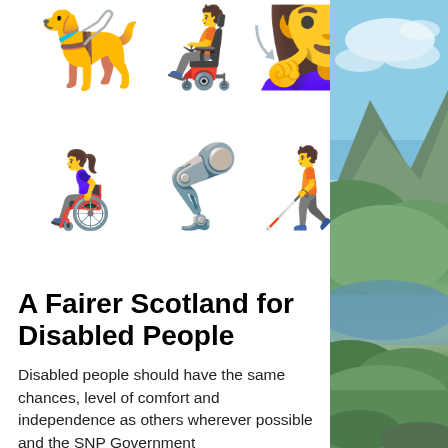[Figure (illustration): Six disability-related emojis arranged in two rows: guide dog, person in motorized wheelchair, deaf/hard of hearing person (top row); person in manual wheelchair, prosthetic leg, person with white cane (bottom row)]
A Fairer Scotland for Disabled People
Disabled people should have the same chances, level of comfort and independence as others wherever possible and the SNP Government
[Figure (photo): Scenic Scottish landscape photograph showing a loch or coastal inlet with green hills and mountains under a partly cloudy sky]